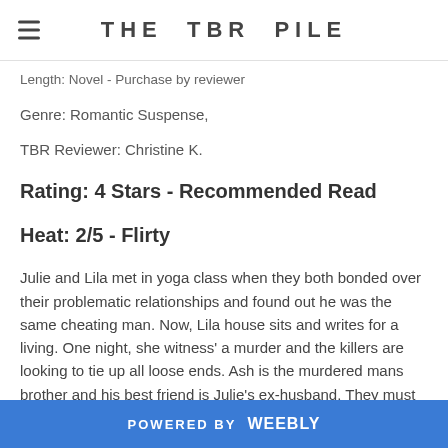THE TBR PILE
Length: Novel - Purchase by reviewer
Genre: Romantic Suspense,
TBR Reviewer: Christine K.
Rating: 4 Stars - Recommended Read
Heat: 2/5 - Flirty
Julie and Lila met in yoga class when they both bonded over their problematic relationships and found out he was the same cheating man. Now, Lila house sits and writes for a living. One night, she witness' a murder and the killers are looking to tie up all loose ends. Ash is the murdered mans brother and his best friend is Julie's ex-husband. They must all deal with more than heated
POWERED BY weebly